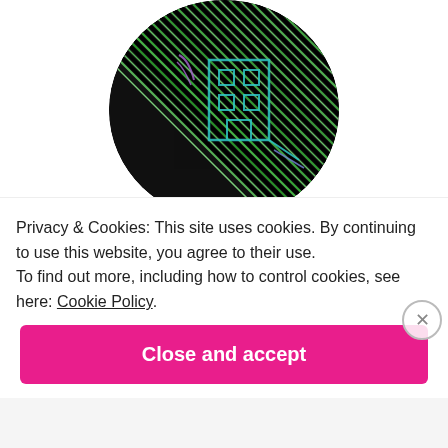[Figure (illustration): Circular avatar image with colorful diagonal hatching pattern in green, black, purple, and teal colors showing abstract graphic/logo design]
Welcomed
Since I didn't book anything in advance – living on
Privacy & Cookies: This site uses cookies. By continuing to use this website, you agree to their use.
To find out more, including how to control cookies, see here: Cookie Policy
Close and accept